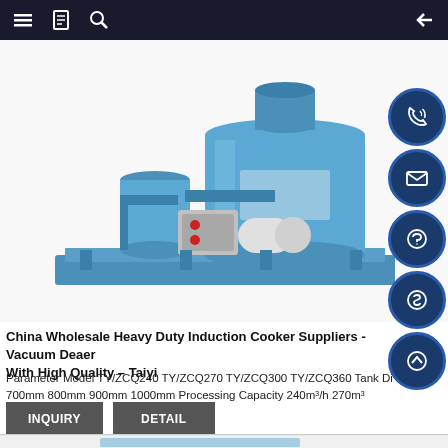Navigation bar with menu, bookmark, search icons and back arrow
[Figure (photo): Blue industrial vacuum deaerator machine with cylindrical tank, pump assembly, and control panel mounted on a blue base frame]
China Wholesale Heavy Duty Induction Cooker Suppliers - Vacuum Deaerator With High Quality – Taiyi
Parameter Model TY/ZCQ240 TY/ZCQ270 TY/ZCQ300 TY/ZCQ360 Tank Di 700mm 800mm 900mm 1000mm Processing Capacity 240m³/h 270m³
[Figure (photo): Partial view of another blue industrial machine at the bottom of the page]